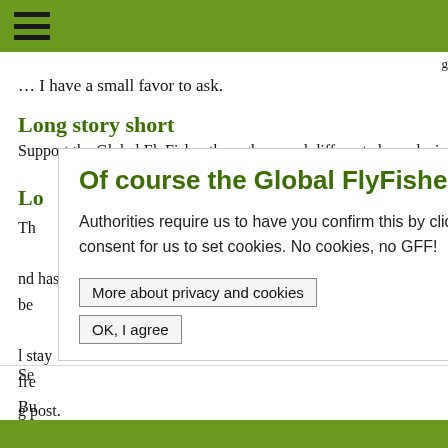… I have a small favor to ask.
Long story short
Support the Global FlyFisher through several different channels, in
Lo
Th ... and has be ... l stay fre Bu It
Se ... g post.
Of course the Global FlyFisher uses cookies! All sites do...

Authorities require us to have you confirm this by clicking any link on this page. You are then giving your consent for us to set cookies. No cookies, no GFF!

More about privacy and cookies
OK, I agree